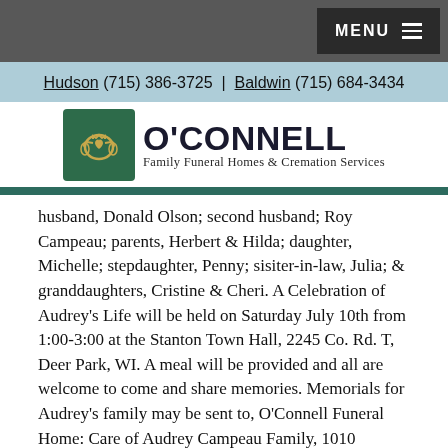MENU
Hudson (715) 386-3725 | Baldwin (715) 684-3434
[Figure (logo): O'Connell Family Funeral Homes & Cremation Services logo with claddagh emblem]
husband, Donald Olson; second husband; Roy Campeau; parents, Herbert & Hilda; daughter, Michelle; stepdaughter, Penny; sisiter-in-law, Julia; & granddaughters, Cristine & Cheri. A Celebration of Audrey's Life will be held on Saturday July 10th from 1:00-3:00 at the Stanton Town Hall, 2245 Co. Rd. T, Deer Park, WI. A meal will be provided and all are welcome to come and share memories. Memorials for Audrey's family may be sent to, O'Connell Funeral Home: Care of Audrey Campeau Family, 1010 Newton St. Baldwin, WI 54002, to be forwarded on